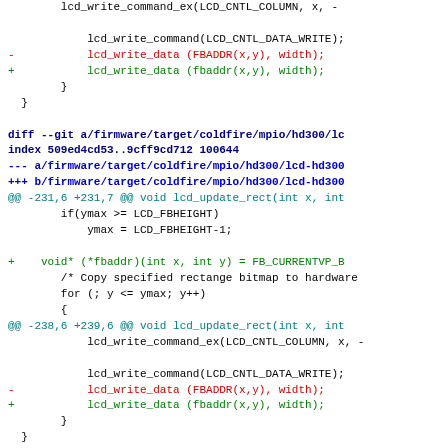Code diff showing changes to lcd firmware files for coldfire/mpio/hd300 and hosted/ibasso targets, replacing FBADDR macro with fbaddr function.